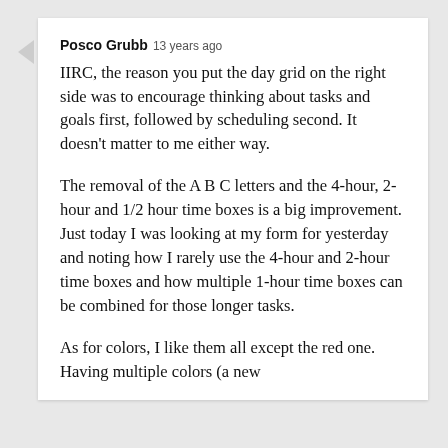Posco Grubb 13 years ago
IIRC, the reason you put the day grid on the right side was to encourage thinking about tasks and goals first, followed by scheduling second. It doesn't matter to me either way.

The removal of the A B C letters and the 4-hour, 2-hour and 1/2 hour time boxes is a big improvement. Just today I was looking at my form for yesterday and noting how I rarely use the 4-hour and 2-hour time boxes and how multiple 1-hour time boxes can be combined for those longer tasks.

As for colors, I like them all except the red one. Having multiple colors (a new